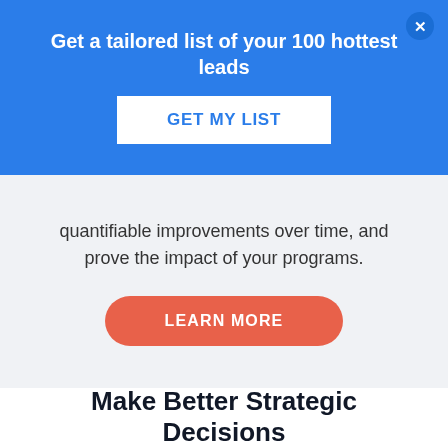Get a tailored list of your 100 hottest leads
GET MY LIST
quantifiable improvements over time, and prove the impact of your programs.
LEARN MORE
Make Better Strategic Decisions